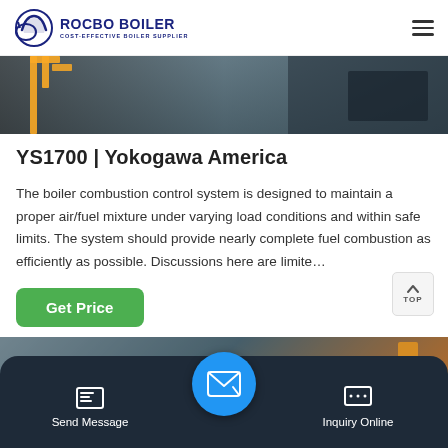ROCBO BOILER — COST-EFFECTIVE BOILER SUPPLIER
[Figure (photo): Industrial boiler interior showing yellow pipes and dark metal components]
YS1700 | Yokogawa America
The boiler combustion control system is designed to maintain a proper air/fuel mixture under varying load conditions and within safe limits. The system should provide nearly complete fuel combustion as efficiently as possible. Discussions here are limite…
[Figure (photo): Second boiler image partially visible at bottom of page]